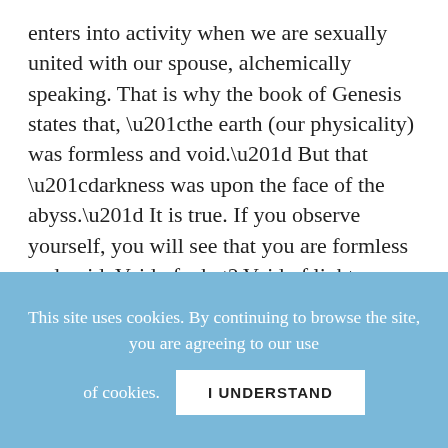enters into activity when we are sexually united with our spouse, alchemically speaking. That is why the book of Genesis states that, “the earth (our physicality) was formless and void.” But that “darkness was upon the face of the abyss.” It is true. If you observe yourself, you will see that you are formless and void. Void of what? Void of light. Formless in what manner? Because you do not have the human being created within you.
This site uses cookies. By continuing to browse the site, you are agreeing to our use of cookies.
I UNDERSTAND